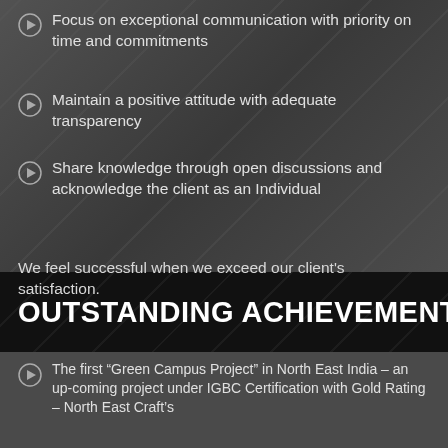Focus on exceptional communication with priority on time and commitments
Maintain a positive attitude with adequate transparency
Share knowledge through open discussions and acknowledge the client as an Individual
We feel successful when we exceed our client's satisfaction.
OUTSTANDING ACHIEVEMENTS
The first “Green Campus Project” in North East India – an up-coming project under IGBC Certification with Gold Rating – North East Craft’s